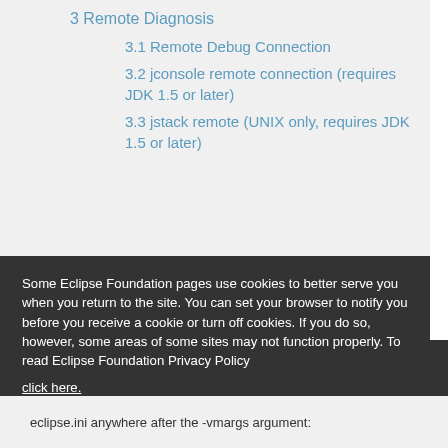3 Remote Diagnosis
3.1 Remote Debug Connection
3.2 jconsole remote connection (requires JDK 1.5 or later)
3.3 jstack remote (UNIX only, requires JDK 1.5 or later)
Some Eclipse Foundation pages use cookies to better serve you when you return to the site. You can set your browser to notify you before you receive a cookie or turn off cookies. If you do so, however, some areas of some sites may not function properly. To read Eclipse Foundation Privacy Policy click here.
eclipse.ini anywhere after the -vmargs argument: